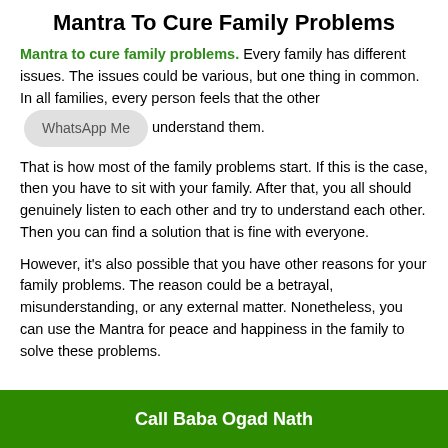Mantra To Cure Family Problems
Mantra to cure family problems. Every family has different issues. The issues could be various, but one thing in common. In all families, every person feels that the other [WhatsApp Me] understand them.
That is how most of the family problems start. If this is the case, then you have to sit with your family. After that, you all should genuinely listen to each other and try to understand each other. Then you can find a solution that is fine with everyone.
However, it's also possible that you have other reasons for your family problems. The reason could be a betrayal, misunderstanding, or any external matter. Nonetheless, you can use the Mantra for peace and happiness in the family to solve these problems.
Call Baba Ogad Nath